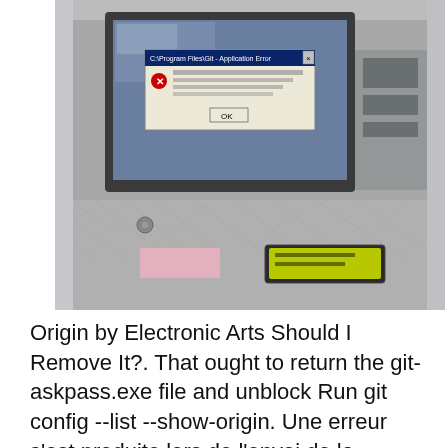[Figure (photo): A photograph of an industrial or vending machine panel. A monitor/screen embedded in the upper portion displays a Windows error dialog box. The lower portion of the panel is metallic/textured silver. A small yellow LCD display is visible in the lower right area of the panel.]
Origin by Electronic Arts Should I Remove It?. That ought to return the git-askpass.exe file and unblock Run git config --list --show-origin. Une erreur s'est produite lors de l'envoi de la